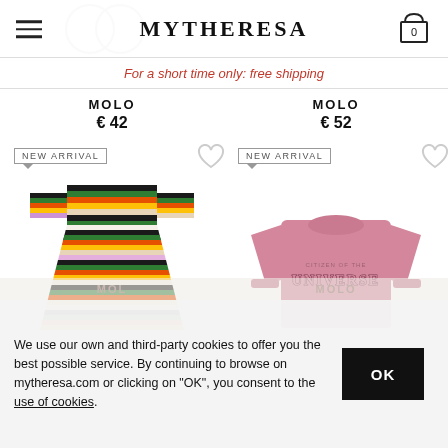MYTHERESA
For a short time only: free shipping
MOLO
€ 42
NEW ARRIVAL
MOLO
€ 52
NEW ARRIVAL
[Figure (photo): Colorful multicolor striped children's dress with long sleeves]
[Figure (photo): Pink children's sweatshirt with 'CITIZEN OF THE UNIVERSE' graphic text]
We use our own and third-party cookies to offer you the best possible service. By continuing to browse on mytheresa.com or clicking on "OK", you consent to the use of cookies.
OK